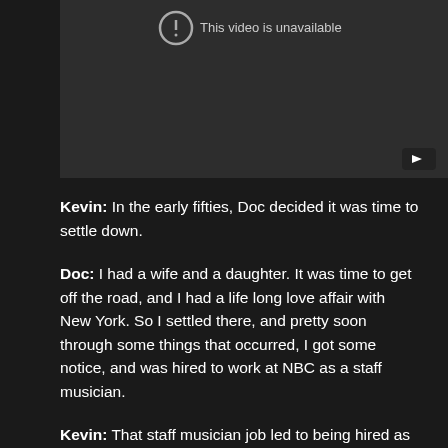[Figure (screenshot): Embedded YouTube video player showing 'This video is unavailable' message on a dark background with a YouTube button in the bottom right corner.]
Kevin: In the early fifties, Doc decided it was time to settle down.
Doc: I had a wife and a daughter. It was time to get off the road, and I had a life long love affair with New York. So I settled there, and pretty soon through some things that occurred, I got some notice, and was hired to work at NBC as a staff musician.
Kevin: That staff musician job led to being hired as a